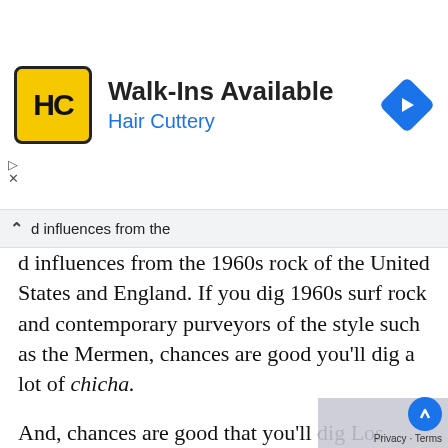[Figure (infographic): Hair Cuttery advertisement banner with yellow HC logo, text 'Walk-Ins Available' and 'Hair Cuttery', and a blue diamond navigation arrow icon on the right.]
...d influences from the 1960s rock of the United States and England. If you dig 1960s surf rock and contemporary purveyors of the style such as the Mermen, chances are good you'll dig a lot of chicha.
And, chances are good that you'll dig Los Bitchos, because they have what it takes to vault a band's identity beyond identification with a genre: memorable songs and palpable band chemistry. At present, their song catalog is small, with a handful of singles and no full length album. But their too-sh... live in-studio set from late 2019 was tight...